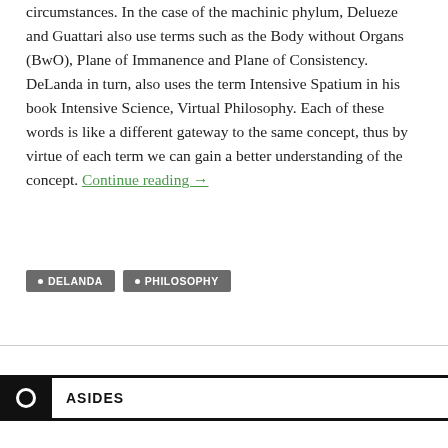circumstances. In the case of the machinic phylum, Delueze and Guattari also use terms such as the Body without Organs (BwO), Plane of Immanence and Plane of Consistency. DeLanda in turn, also uses the term Intensive Spatium in his book Intensive Science, Virtual Philosophy. Each of these words is like a different gateway to the same concept, thus by virtue of each term we can gain a better understanding of the concept. Continue reading →
DELANDA
PHILOSOPHY
ASIDES
Vasari and Dynamo – YouTube